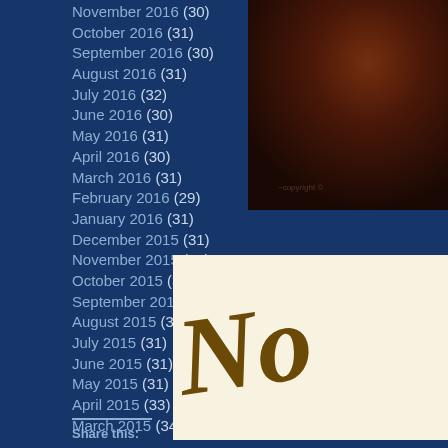November 2016 (30)
October 2016 (31)
September 2016 (30)
August 2016 (31)
July 2016 (32)
June 2016 (30)
May 2016 (31)
April 2016 (30)
March 2016 (31)
February 2016 (29)
January 2016 (31)
December 2015 (31)
November 2015 (31)
October 2015 (32)
September 2015 (30)
August 2015 (31)
July 2015 (31)
June 2015 (31)
May 2015 (31)
April 2015 (33)
March 2015 (34)
[Figure (photo): Dark reddish-brown photo, partially visible on upper right]
[Figure (photo): White/cream image with dark brown cursive script text partially visible, appears to say 'No...']